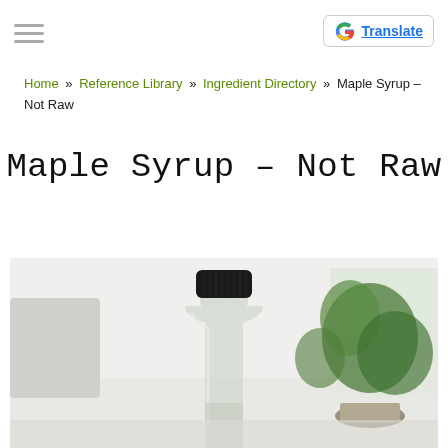Translate
Home » Reference Library » Ingredient Directory » Maple Syrup – Not Raw
Maple Syrup – Not Raw
[Figure (photo): A clear glass bottle with a black screw cap, photographed on a white surface with green plant leaves in the background.]